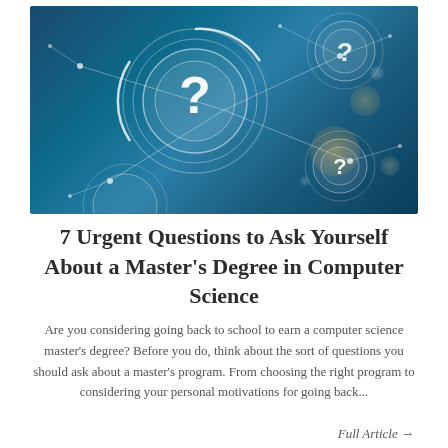[Figure (photo): Dark blue technology background with glowing white circular rings and question marks, connected by nodes and lines suggesting a network or AI concept.]
7 Urgent Questions to Ask Yourself About a Master's Degree in Computer Science
Are you considering going back to school to earn a computer science master's degree? Before you do, think about the sort of questions you should ask about a master's program. From choosing the right program to considering your personal motivations for going back...
Full Article →